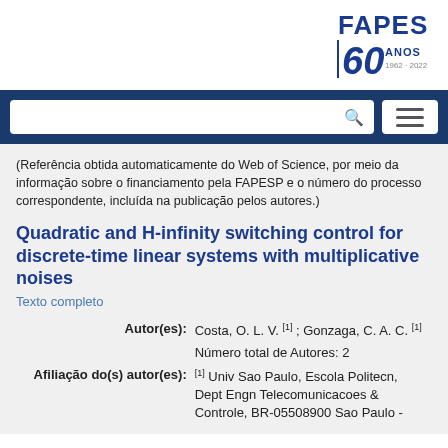[Figure (logo): FAPESP 60 ANOS 1962-2022 logo]
(Referência obtida automaticamente do Web of Science, por meio da informação sobre o financiamento pela FAPESP e o número do processo correspondente, incluída na publicação pelos autores.)
Quadratic and H-infinity switching control for discrete-time linear systems with multiplicative noises
Texto completo
| Autor(es): | Costa, O. L. V. [1] ; Gonzaga, C. A. C. [1] |
|  | Número total de Autores: 2 |
| Afiliação do(s) autor(es): | [1] Univ Sao Paulo, Escola Politecn, Dept Engn Telecomunicacoes & Controle, BR-05508900 Sao Paulo - |